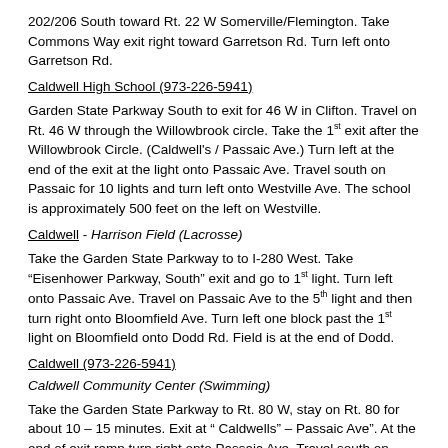202/206 South toward Rt. 22 W Somerville/Flemington. Take Commons Way exit right toward Garretson Rd. Turn left onto Garretson Rd.
Caldwell High School (973-226-5941)
Garden State Parkway South to exit for 46 W in Clifton. Travel on Rt. 46 W through the Willowbrook circle. Take the 1st exit after the Willowbrook Circle. (Caldwell's / Passaic Ave.) Turn left at the end of the exit at the light onto Passaic Ave. Travel south on Passaic for 10 lights and turn left onto Westville Ave. The school is approximately 500 feet on the left on Westville.
Caldwell - Harrison Field (Lacrosse)
Take the Garden State Parkway to to I-280 West. Take “Eisenhower Parkway, South” exit and go to 1st light. Turn left onto Passaic Ave. Travel on Passaic Ave to the 5th light and then turn right onto Bloomfield Ave. Turn left one block past the 1st light on Bloomfield onto Dodd Rd. Field is at the end of Dodd.
Caldwell (973-226-5941)
Caldwell Community Center (Swimming)
Take the Garden State Parkway to Rt. 80 W, stay on Rt. 80 for about 10 – 15 minutes. Exit at “ Caldwells” – Passaic Ave”. At the end of exit ramp turn right onto Passaic Ave. Travel south on Passaic for 10 lights.